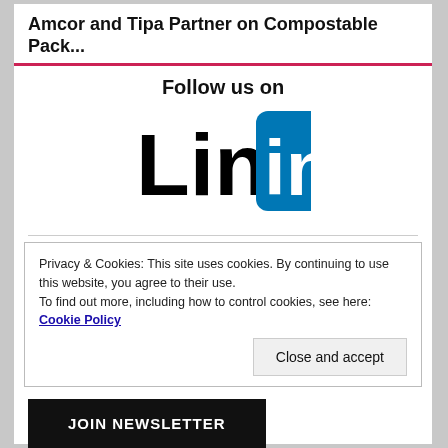Amcor and Tipa Partner on Compostable Pack...
Follow us on
[Figure (logo): LinkedIn logo: black 'Linked' text followed by white 'in' on a blue rounded square background]
Privacy & Cookies: This site uses cookies. By continuing to use this website, you agree to their use.
To find out more, including how to control cookies, see here: Cookie Policy
Close and accept
JOIN NEWSLETTER